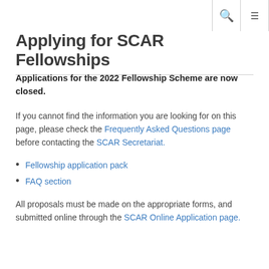🔍 ☰
Applying for SCAR Fellowships
Applications for the 2022 Fellowship Scheme are now closed.
If you cannot find the information you are looking for on this page, please check the Frequently Asked Questions page before contacting the SCAR Secretariat.
Fellowship application pack
FAQ section
All proposals must be made on the appropriate forms, and submitted online through the SCAR Online Application page.